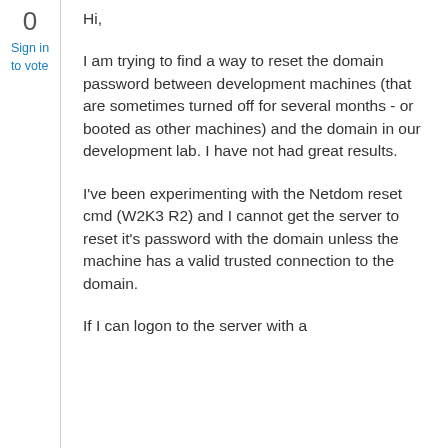0
Sign in to vote
Hi,
I am trying to find a way to reset the domain password between development machines (that are sometimes turned off for several months - or booted as other machines) and the domain in our development lab. I have not had great results.
I've been experimenting with the Netdom reset cmd (W2K3 R2) and I cannot get the server to reset it's password with the domain unless the machine has a valid trusted connection to the domain.
If I can logon to the server with a